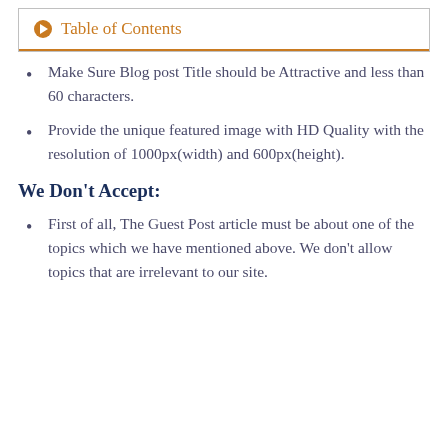[Figure (other): Table of Contents collapsible box with orange arrow icon, title 'Table of Contents', and orange horizontal rule at bottom]
Make Sure Blog post Title should be Attractive and less than 60 characters.
Provide the unique featured image with HD Quality with the resolution of 1000px(width) and 600px(height).
We Don’t Accept:
First of all, The Guest Post article must be about one of the topics which we have mentioned above. We don’t allow topics that are irrelevant to our site.